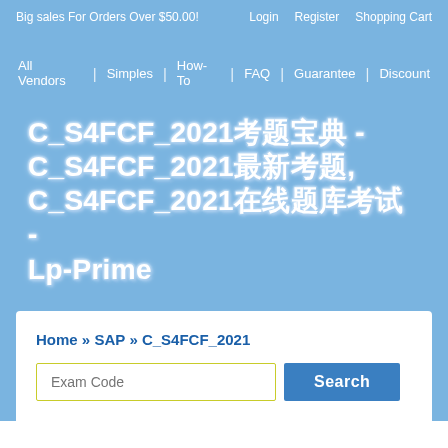Big sales For Orders Over $50.00!    Login    Register    Shopping Cart
All Vendors | Simples | How-To | FAQ | Guarantee | Discount
C_S4FCF_2021考题宝典 - C_S4FCF_2021最新考题, C_S4FCF_2021在线题库考试 - Lp-Prime
Home » SAP » C_S4FCF_2021
Exam Code  Search